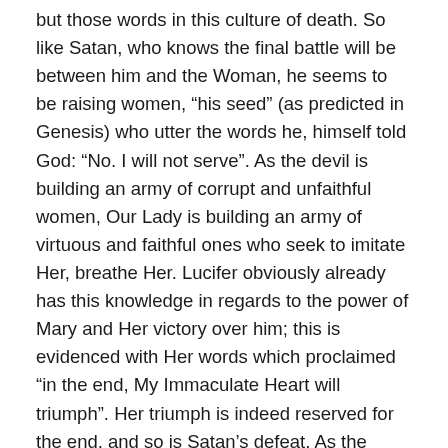but those words in this culture of death. So like Satan, who knows the final battle will be between him and the Woman, he seems to be raising women, “his seed” (as predicted in Genesis) who utter the words he, himself told God: “No. I will not serve”. As the devil is building an army of corrupt and unfaithful women, Our Lady is building an army of virtuous and faithful ones who seek to imitate Her, breathe Her. Lucifer obviously already has this knowledge in regards to the power of Mary and Her victory over him; this is evidenced with Her words which proclaimed “in the end, My Immaculate Heart will triumph”. Her triumph is indeed reserved for the end, and so is Satan’s defeat. As the battle began with the temptation and fall of Eve, it will end with the fidelity and sovereign victory of Mary – Our Queen in Heaven!